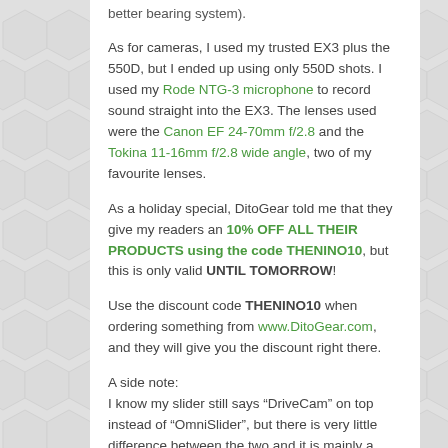better bearing system). As for cameras, I used my trusted EX3 plus the 550D, but I ended up using only 550D shots. I used my Rode NTG-3 microphone to record sound straight into the EX3. The lenses used were the Canon EF 24-70mm f/2.8 and the Tokina 11-16mm f/2.8 wide angle, two of my favourite lenses.
As a holiday special, DitoGear told me that they give my readers an 10% OFF ALL THEIR PRODUCTS using the code THENINO10, but this is only valid UNTIL TOMORROW!
Use the discount code THENINO10 when ordering something from www.DitoGear.com, and they will give you the discount right there.
A side note: I know my slider still says "DriveCam" on top instead of "OmniSlider", but there is very little difference between the two and it is mainly a software upgrade that I am about to receive. I don't want to confuse people by calling it